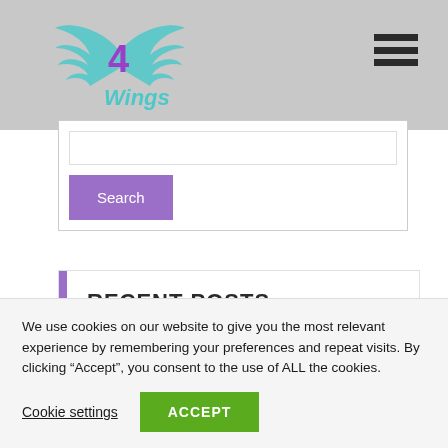[Figure (logo): 4Wings logo with teal/purple wings and text '4 Wings' in purple/teal]
Search
RECENT POSTS
VaRt Exhibition
Storytelling Event (partial)
We use cookies on our website to give you the most relevant experience by remembering your preferences and repeat visits. By clicking “Accept”, you consent to the use of ALL the cookies.
Cookie settings
ACCEPT